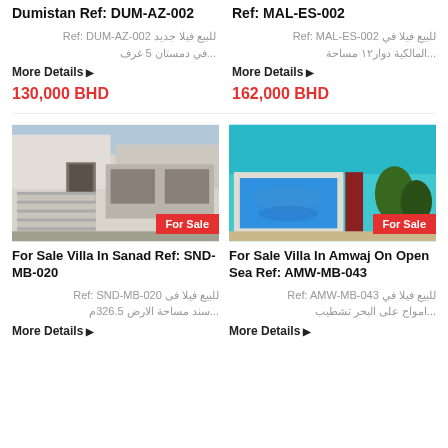Dumistan Ref: DUM-AZ-002
للبيع فيلا جديد Ref: DUM-AZ-002 ...في دمستان 5 غرف
More Details ▶
130,000 BHD
Ref: MAL-ES-002
للبيع فيلا في Ref: MAL-ES-002 ...المالكية دوار١٢ مساحة
More Details ▶
162,000 BHD
[Figure (photo): Exterior view of a modern villa with garage door in Sanad, Bahrain. For Sale badge in bottom right.]
For Sale Villa In Sanad Ref: SND-MB-020
للبيع فيلا فی Ref: SND-MB-020 ...سند مساحة الارض 326.5م
More Details ▶
[Figure (photo): Aerial view of a villa with swimming pool on open sea in Amwaj Islands, Bahrain. For Sale badge in bottom right.]
For Sale Villa In Amwaj On Open Sea Ref: AMW-MB-043
للبيع فيلا في Ref: AMW-MB-043 ...امواج على البحر تشطيب
More Details ▶